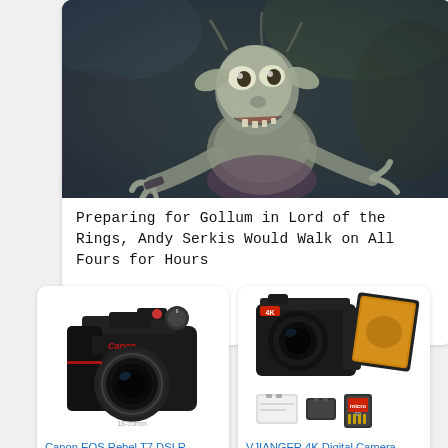[Figure (photo): Photo of Gollum character from Lord of the Rings, crouching and grinning toward camera against a dark rocky background]
Preparing for Gollum in Lord of the Rings, Andy Serkis Would Walk on All Fours for Hours
[Figure (photo): Canon EOS Rebel T7 DSLR camera with 18-55mm lens, black, shown against white background]
Canon EOS Rebel T7 DSLR Camera with 18-55mm Lens,
[Figure (photo): VJIANGER 4K digital camera 48MP pixel autofocus vlogging camera shown with accessories including batteries and memory card]
VJIANGER 4K Digital Camera 48MP Pixel Autofocus Vlogg